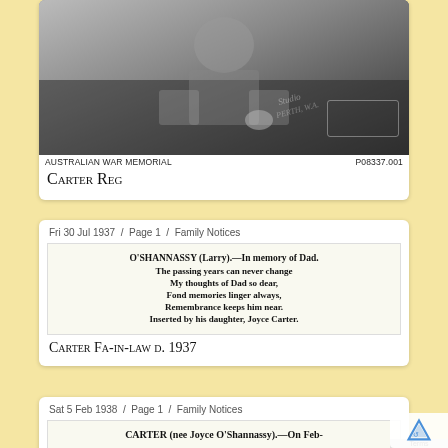[Figure (photo): Black and white historical photograph from Australian War Memorial, showing a person in military-era clothing. Studio photograph with cursive text visible on the image.]
AUSTRALIAN WAR MEMORIAL   P08337.001
Carter Reg
Fri 30 Jul 1937 / Page 1 / Family Notices
[Figure (screenshot): Newspaper clipping: O'SHANNASSY (Larry).—In memory of Dad. The passing years can never change My thoughts of Dad so dear, Fond memories linger always, Remembrance keeps him near. Inserted by his daughter, Joyce Carter.]
Carter Fa-in-law d. 1937
Sat 5 Feb 1938 / Page 1 / Family Notices
[Figure (screenshot): Newspaper clipping beginning: CARTER (nee Joyce O'Shannassy).—On Feb-]